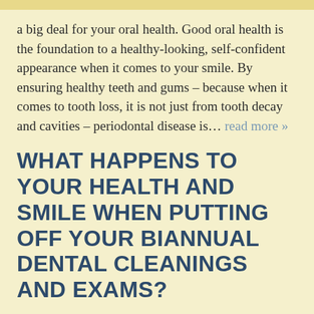a big deal for your oral health. Good oral health is the foundation to a healthy-looking, self-confident appearance when it comes to your smile. By ensuring healthy teeth and gums – because when it comes to tooth loss, it is not just from tooth decay and cavities – periodontal disease is… read more »
WHAT HAPPENS TO YOUR HEALTH AND SMILE WHEN PUTTING OFF YOUR BIANNUAL DENTAL CLEANINGS AND EXAMS?
Because of the pandemic (and occasionally dental anxiety just from going to the dentist), patients may find themselves tempted to skip a